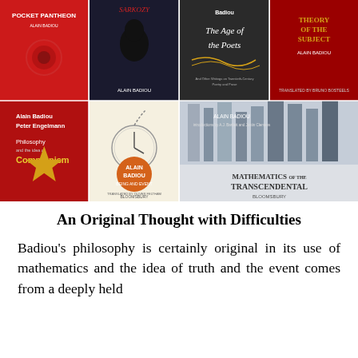[Figure (illustration): A 4x2 grid of book covers by Alain Badiou including: Pocket Pantheon, Sarkozy (silhouette), The Age of the Poets, Theory of the Subject, Philosophy and the Idea of Communism (with Engelmann), Being and Event, and Mathematics of the Transcendental.]
An Original Thought with Difficulties
Badiou's philosophy is certainly original in its use of mathematics and the idea of truth and the event comes from a deeply held